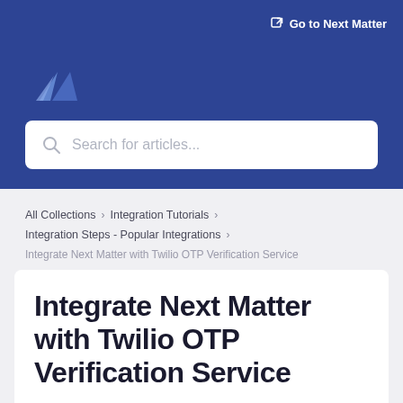[Figure (logo): Next Matter logo — two overlapping triangular shapes in light blue on dark blue background]
Go to Next Matter
Search for articles...
All Collections > Integration Tutorials > Integration Steps - Popular Integrations > Integrate Next Matter with Twilio OTP Verification Service
Integrate Next Matter with Twilio OTP Verification Service